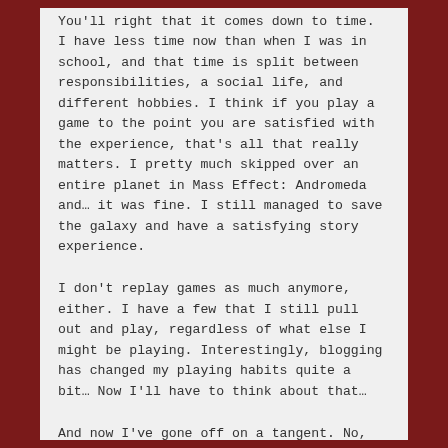You'll right that it comes down to time. I have less time now than when I was in school, and that time is split between responsibilities, a social life, and different hobbies. I think if you play a game to the point you are satisfied with the experience, that's all that really matters. I pretty much skipped over an entire planet in Mass Effect: Andromeda and… it was fine. I still managed to save the galaxy and have a satisfying story experience.
I don't replay games as much anymore, either. I have a few that I still pull out and play, regardless of what else I might be playing. Interestingly, blogging has changed my playing habits quite a bit… Now I'll have to think about that…
And now I've gone off on a tangent. No,